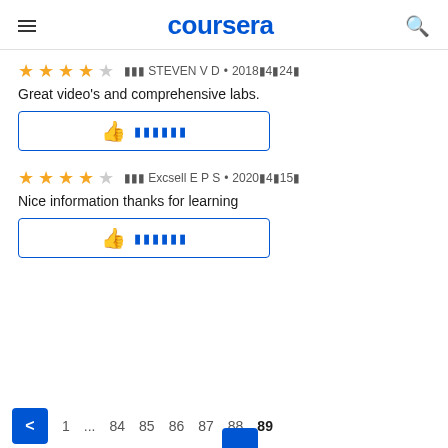coursera
⭐⭐⭐⭐☆  ▪▪▪ STEVEN V D • 2018▪4▪24▪
Great video's and comprehensive labs.
👍 ▪▪▪▪▪▪
⭐⭐⭐⭐☆  ▪▪▪ Excsell E P S • 2020▪4▪15▪
Nice information thanks for learning
👍 ▪▪▪▪▪▪
< 1 ... 84 85 86 87 88 89